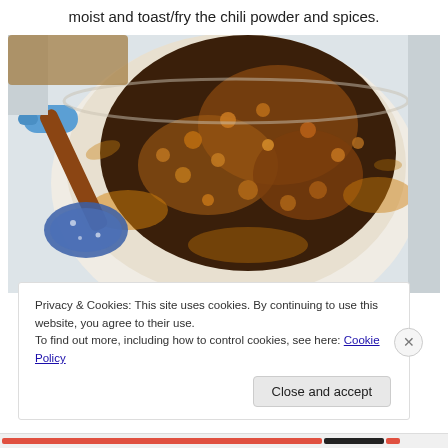moist and toast/fry the chili powder and spices.
[Figure (photo): Overhead view of a blue Dutch oven containing browned ground meat and diced vegetables (chili), with a wooden spoon and blue ceramic spoon rest visible to the left side.]
Privacy & Cookies: This site uses cookies. By continuing to use this website, you agree to their use.
To find out more, including how to control cookies, see here: Cookie Policy
Close and accept